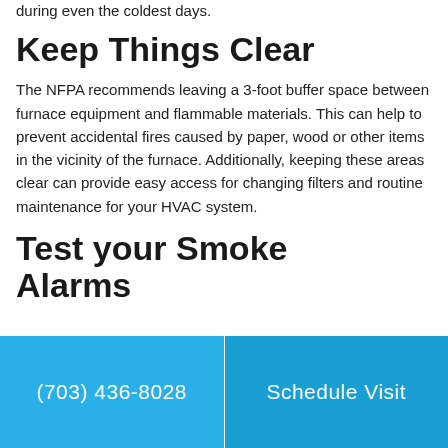during even the coldest days.
Keep Things Clear
The NFPA recommends leaving a 3-foot buffer space between furnace equipment and flammable materials. This can help to prevent accidental fires caused by paper, wood or other items in the vicinity of the furnace. Additionally, keeping these areas clear can provide easy access for changing filters and routine maintenance for your HVAC system.
Test your Smoke Alarms
(703) 436-8028   Schedule Visit